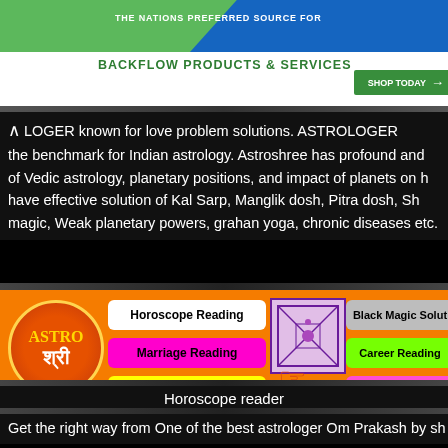[Figure (screenshot): Advertisement banner for Test Gauge Inc - Backflow Products & Services with green and blue diagonal color blocks, shop today button]
LOGER known for love problem solutions. ASTROLOGER the benchmark for Indian astrology. Astroshree has profound and of Vedic astrology, planetary positions, and impact of planets on have effective solution of Kal Sarp, Manglik dosh, Pitra dosh, magic, Weak planetary powers, grahan yoga, chronic diseases etc.
[Figure (infographic): Astroshree astrology services banner on orange background with logo circle, service buttons (Horoscope Reading, Marriage Reading, Vastu Remedies, Numerology, Black Magic Solutions, Career Reading, Love Life Reading), kundli chart, hand palm image, and contact email/phone]
Horoscope reader
Get the right way from One of the best astrologer Om Prakash by sh